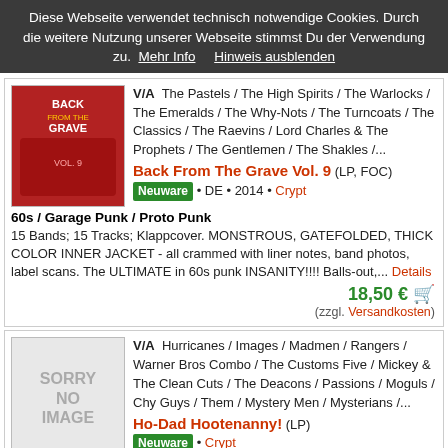Diese Webseite verwendet technisch notwendige Cookies. Durch die weitere Nutzung unserer Webseite stimmst Du der Verwendung zu. Mehr Info Hinweis ausblenden
V/A The Pastels / The High Spirits / The Warlocks / The Emeralds / The Why-Nots / The Turncoats / The Classics / The Raevins / Lord Charles & The Prophets / The Gentlemen / The Shakles /... Back From The Grave Vol. 9 (LP, FOC) Neuware • DE • 2014 • Crypt
60s / Garage Punk / Proto Punk
15 Bands; 15 Tracks; Klappcover. MONSTROUS, GATEFOLDED, THICK COLOR INNER JACKET - all crammed with liner notes, band photos, label scans. The ULTIMATE in 60s punk INSANITY!!!! Balls-out,... Details
18,50 € (zzgl. Versandkosten)
V/A Hurricanes / Images / Madmen / Rangers / Warner Bros Combo / The Customs Five / Mickey & The Clean Cuts / The Deacons / Passions / Moguls / Chy Guys / Them / Mystery Men / Mysterians /... Ho-Dad Hootenanny! (LP) Neuware • Crypt
60s / Garage Punk / Proto Punk
17 Bands; 18 Tracks. Beer Blast Blow Out '65! Ripping comp of garage frat-punk slop, 1964-66: Fast, SIMPLE, STUPID pre-snarl dance punk from 1965!